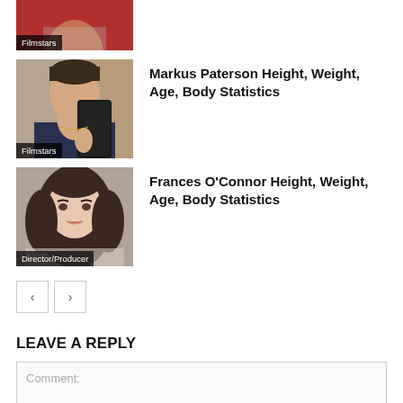[Figure (photo): Partial photo of a person with red background, cropped at top, with 'Filmstars' label overlay]
[Figure (photo): Young man taking a selfie with a phone, 'Filmstars' label overlay]
Markus Paterson Height, Weight, Age, Body Statistics
[Figure (photo): Woman with brunette wavy hair, 'Director/Producer' label overlay]
Frances O'Connor Height, Weight, Age, Body Statistics
< >
LEAVE A REPLY
Comment: